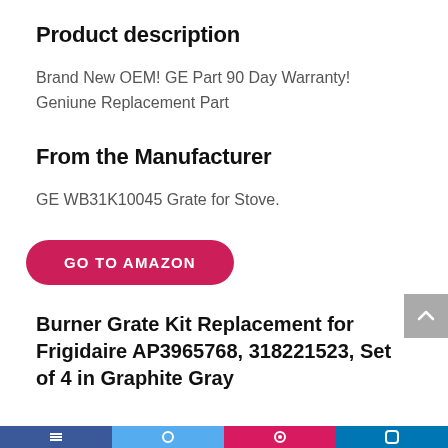Product description
Brand New OEM! GE Part 90 Day Warranty! Geniune Replacement Part
From the Manufacturer
GE WB31K10045 Grate for Stove.
[Figure (other): GO TO AMAZON button - red rounded pill button with white bold uppercase text]
Burner Grate Kit Replacement for Frigidaire AP3965768, 318221523, Set of 4 in Graphite Gray
Navigation bar with social media icons